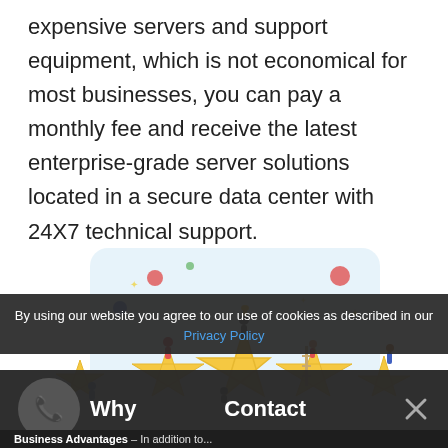expensive servers and support equipment, which is not economical for most businesses, you can pay a monthly fee and receive the latest enterprise-grade server solutions located in a secure data center with 24X7 technical support.
[Figure (illustration): Illustration of five large gold stars with small cartoon people celebrating around them, holding trophies, climbing ladders, with balloons and confetti on a light blue background.]
By using our website you agree to our use of cookies as described in our Privacy Policy
Why
Contact
Business Advantages – In addition to...